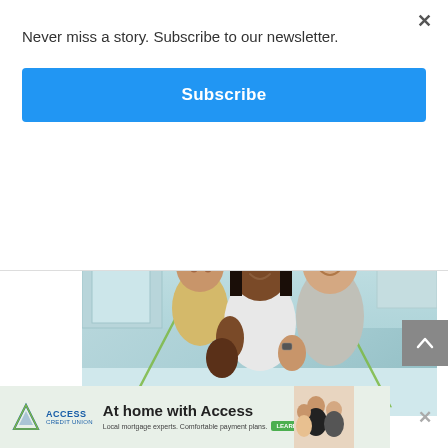Never miss a story. Subscribe to our newsletter.
Subscribe
[Figure (photo): Family photo: a woman holding a toddler and a man smiling, in a bright kitchen setting, with a green triangle overlay graphic]
[Figure (logo): Access Credit Union logo with 'At home with Access' advertisement banner. Text: 'Local mortgage experts. Comfortable payment plans. LEARN MORE']